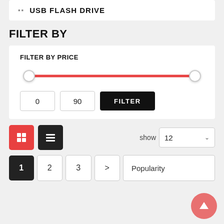USB FLASH DRIVE
FILTER BY
FILTER BY PRICE
0   90   FILTER
show 12
1  2  3  >
Popularity